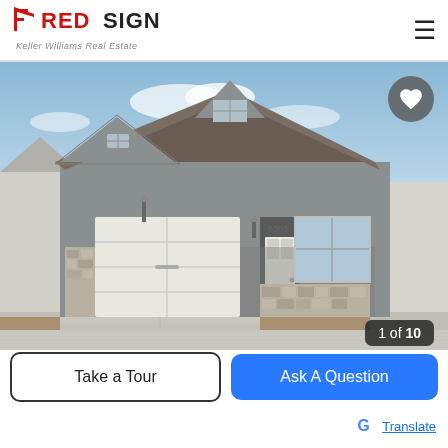RED SIGN Keller Williams Real Estate
[Figure (photo): Exterior photo of a single-story ranch-style house with gray siding, white two-car garage door, covered front porch, stone accent trim, and a concrete driveway. Blue sky with light clouds in background. Badge shows '1 of 10'.]
Take a Tour
Ask A Question
G Translate